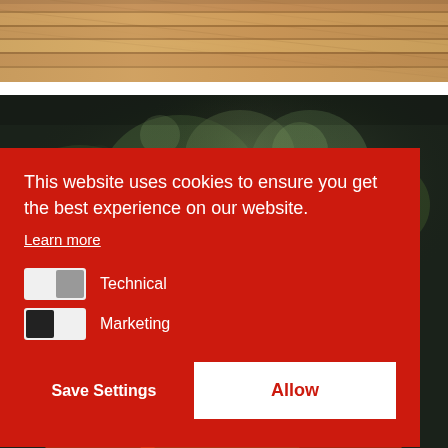[Figure (photo): Wooden deck planks photographed from an angle, warm brown tones]
[Figure (photo): Outdoor scene with dark blurred bokeh background (trees/foliage), with a red/orange food item visible at the very bottom]
This website uses cookies to ensure you get the best experience on our website.
Learn more
Technical
Marketing
Save Settings
Allow